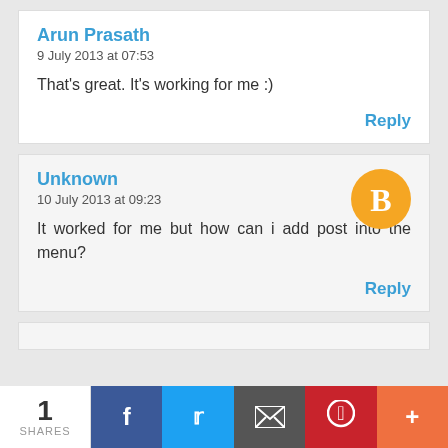Arun Prasath
9 July 2013 at 07:53
That's great. It's working for me :)
Reply
Unknown
10 July 2013 at 09:23
It worked for me but how can i add post into the menu?
Reply
1 SHARES | Facebook | Twitter | Email | Pinterest | More